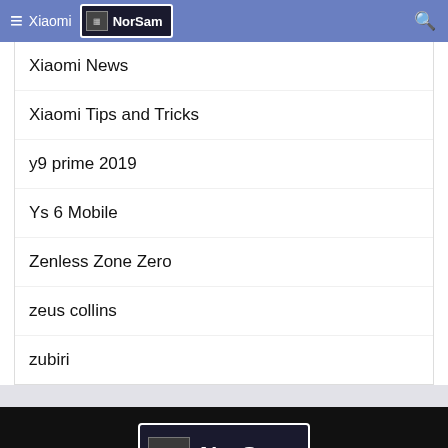Xiaomi | NorSam
Xiaomi News
Xiaomi Tips and Tricks
y9 prime 2019
Ys 6 Mobile
Zenless Zone Zero
zeus collins
zubiri
[Figure (logo): NorSam logo with newspaper icon on dark background]
ABOUT US
The NorSam.net is a web-based newswire service of the Northern